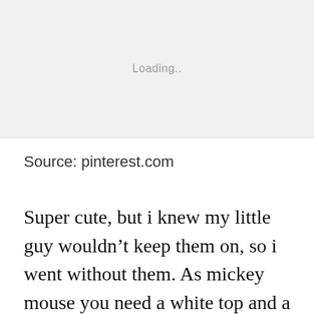[Figure (other): Image placeholder showing a loading state with grey background and 'Loading.' text]
Source: pinterest.com
Super cute, but i knew my little guy wouldnt keep them on, so i went without them. As mickey mouse you need a white top and a black jacket. If you’re going to be inside, i’d suggest adding some puffy paint to the bottom, so that your child doesn’t slip. From the design of the body to the